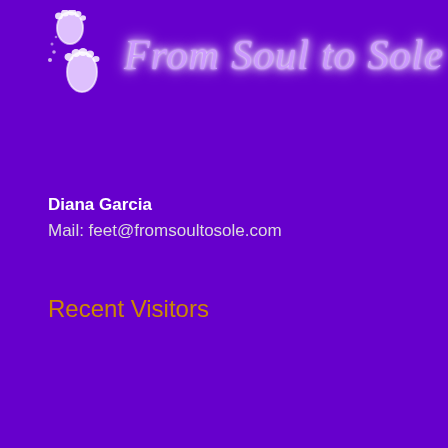[Figure (logo): From Soul to Sole logo with two footprint icons on the left and cursive brand name text on the right, white/light purple on purple background]
Diana Garcia
Mail: feet@fromsoultosole.com
Recent Visitors